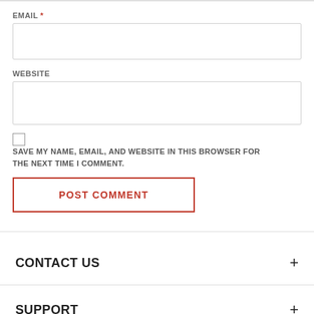EMAIL *
WEBSITE
SAVE MY NAME, EMAIL, AND WEBSITE IN THIS BROWSER FOR THE NEXT TIME I COMMENT.
POST COMMENT
CONTACT US
SUPPORT